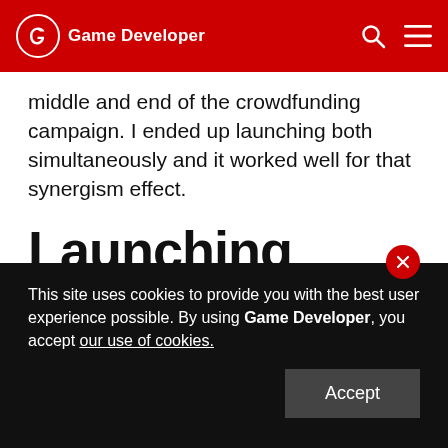Game Developer
middle and end of the crowdfunding campaign. I ended up launching both simultaneously and it worked well for that synergism effect.
Launching
While you are sharing and improving your Kickstarter page with your following, it is a good time to set a firm date for when you will launch the campaign. Be aware of the time zones that your following lives by and schedule something that
This site uses cookies to provide you with the best user experience possible. By using Game Developer, you accept our use of cookies.